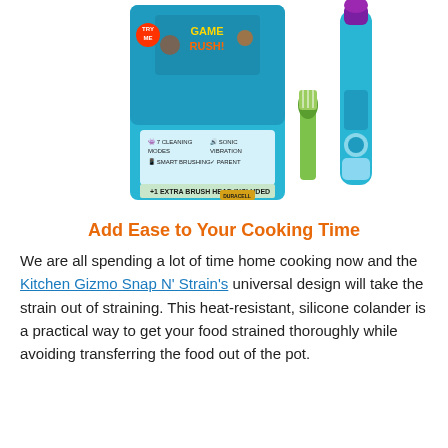[Figure (photo): Product photo of a blue children's electric toothbrush (Game Brush) with its retail packaging box showing '7 cleaning modes', 'sonic vibration', '+1 extra brush head included', and a green replacement brush head alongside the main toothbrush unit with a purple tip.]
Add Ease to Your Cooking Time
We are all spending a lot of time home cooking now and the Kitchen Gizmo Snap N' Strain's universal design will take the strain out of straining. This heat-resistant, silicone colander is a practical way to get your food strained thoroughly while avoiding transferring the food out of the pot.